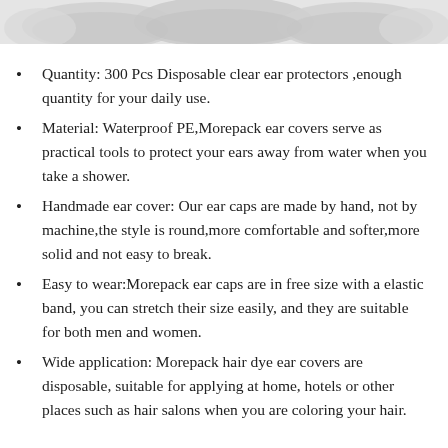[Figure (photo): Photo of disposable clear ear protectors/covers at the top of the page, showing white/light grey circular ear caps]
Quantity: 300 Pcs Disposable clear ear protectors ,enough quantity for your daily use.
Material: Waterproof PE,Morepack ear covers serve as practical tools to protect your ears away from water when you take a shower.
Handmade ear cover: Our ear caps are made by hand, not by machine,the style is round,more comfortable and softer,more solid and not easy to break.
Easy to wear:Morepack ear caps are in free size with a elastic band, you can stretch their size easily, and they are suitable for both men and women.
Wide application: Morepack hair dye ear covers are disposable, suitable for applying at home, hotels or other places such as hair salons when you are coloring your hair.